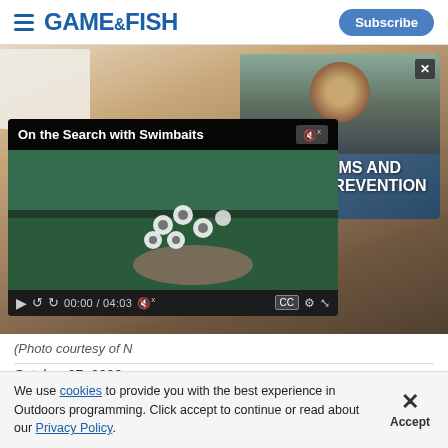GAME&FISH | Subscribe
[Figure (screenshot): Game & Fish magazine website screenshot showing a main article image with a 'Firearms and Suicide Prevention' card overlay and a video player overlay titled 'On the Search with Swimbaits' showing 00:00 / 04:03 timecode]
(Photo courtesy of N[NSSF?])
October 07, 2020
By Joe Bartozzi
We use cookies to provide you with the best experience in Outdoors programming. Click accept to continue or read about our Privacy Policy.